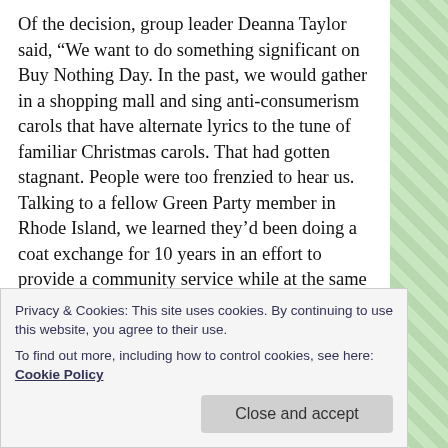Of the decision, group leader Deanna Taylor said, “We want to do something significant on Buy Nothing Day. In the past, we would gather in a shopping mall and sing anti-consumerism carols that have alternate lyrics to the tune of familiar Christmas carols. That had gotten stagnant. People were too frenzied to hear us. Talking to a fellow Green Party member in Rhode Island, we learned they’d been doing a coat exchange for 10 years in an effort to provide a community service while at the same time educating the public on the important of community needs rather than consumer.”
Privacy & Cookies: This site uses cookies. By continuing to use this website, you agree to their use.
To find out more, including how to control cookies, see here: Cookie Policy